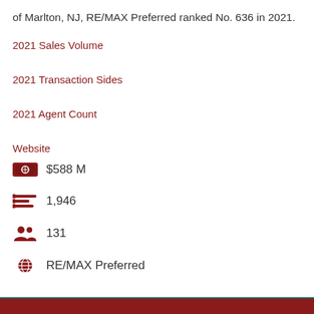of Marlton, NJ, RE/MAX Preferred ranked No. 636 in 2021.
2021 Sales Volume
2021 Transaction Sides
2021 Agent Count
Website
$588 M
1,946
131
RE/MAX Preferred